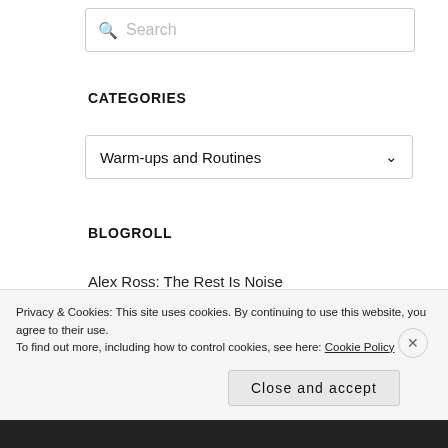[Figure (screenshot): Search input box with magnifying glass icon and placeholder text 'Search']
CATEGORIES
[Figure (screenshot): Dropdown selector showing 'Warm-ups and Routines' with a chevron/arrow on the right]
BLOGROLL
Alex Ross: The Rest Is Noise
Bennett's Tenets
Horn Insights
Horn Lessons
Horn Matters
Privacy & Cookies: This site uses cookies. By continuing to use this website, you agree to their use.
To find out more, including how to control cookies, see here: Cookie Policy
Close and accept